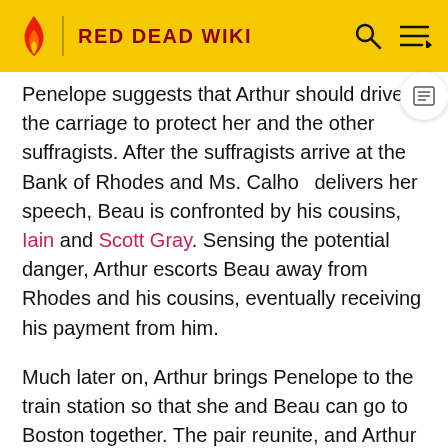RED DEAD WIKI
Penelope suggests that Arthur should drive the carriage to protect her and the other suffragists. After the suffragists arrive at the Bank of Rhodes and Ms. Calhoo delivers her speech, Beau is confronted by his cousins, Iain and Scott Gray. Sensing the potential danger, Arthur escorts Beau away from Rhodes and his cousins, eventually receiving his payment from him.
Much later on, Arthur brings Penelope to the train station so that she and Beau can go to Boston together. The pair reunite, and Arthur approaches the train clerk in order to buy train tickets for the pair. However, Iain and Scott appear on the platform outside and confront Beau. A heated discussion then commences, followed by a brawl in which Iain and Scott are knocked unconscious by